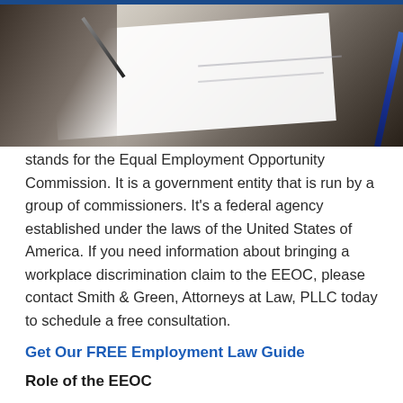[Figure (photo): A hand holding a pen over a document/paper, signing or writing, with a blue pen visible on the right side. Background shows blurred document pages.]
stands for the Equal Employment Opportunity Commission. It is a government entity that is run by a group of commissioners. It's a federal agency established under the laws of the United States of America. If you need information about bringing a workplace discrimination claim to the EEOC, please contact Smith & Green, Attorneys at Law, PLLC today to schedule a free consultation.
Get Our FREE Employment Law Guide
Role of the EEOC
They are charged with the responsibility of monitoring.